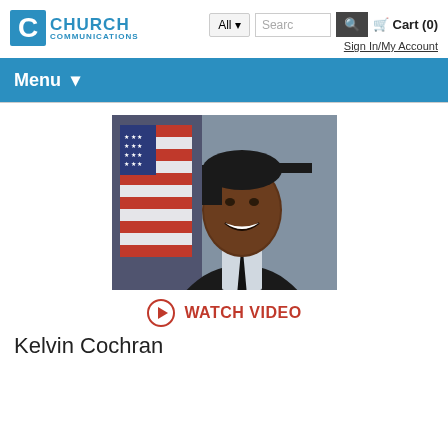CHURCH COMMUNICATIONS — All | Search | Cart (0) | Sign In/My Account
Menu
[Figure (photo): Official portrait of Kelvin Cochran, a man in a dark suit and tie, smiling in front of an American flag on a grey background.]
WATCH VIDEO
Kelvin Cochran